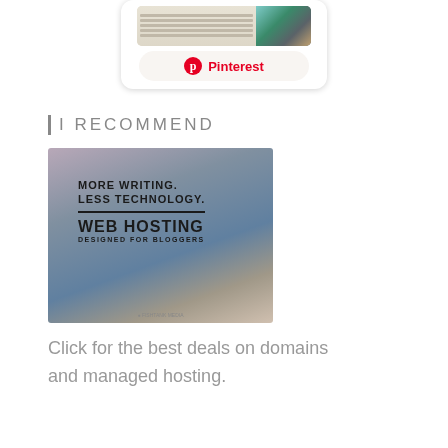[Figure (screenshot): Pinterest widget showing a preview image and a Pinterest button with the Pinterest logo and text]
I RECOMMEND
[Figure (photo): Photo of a pen on a notebook with text overlay: MORE WRITING. LESS TECHNOLOGY. WEB HOSTING DESIGNED FOR BLOGGERS. Fishtank Media credit at bottom.]
Click for the best deals on domains and managed hosting.